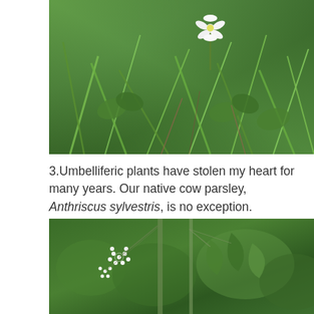[Figure (photo): Close-up photograph of green grass, clover leaves, and a white daisy-like flower growing in a meadow or garden ground cover.]
3.Umbelliferic plants have stolen my heart for many years. Our native cow parsley, Anthriscus sylvestris, is no exception.
[Figure (photo): Close-up photograph of white umbelliferous flowers (cow parsley, Anthriscus sylvestris) among green foliage.]